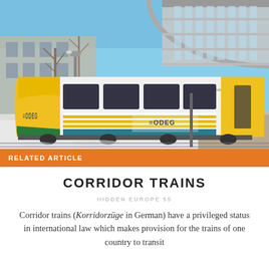[Figure (photo): An ODEG regional train at a snowy train station platform. The train is white, yellow, and green with 'ODEG' branding. A large curved glass station roof is visible in the background with bare winter trees and blue sky.]
RELATED ARTICLE
CORRIDOR TRAINS
HIDDEN EUROPE 55
Corridor trains (Korridorzüge in German) have a privileged status in international law which makes provision for the trains of one country to transit